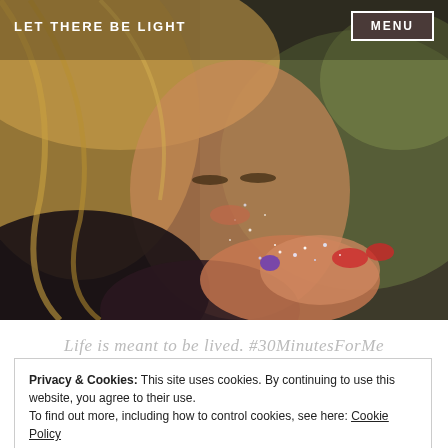LET THERE BE LIGHT
[Figure (photo): Close-up photograph of a young blonde girl blowing glitter or sparkles from her cupped hands, bokeh background with warm tones]
Life is meant to be lived. #30MinutesForMe
Privacy & Cookies: This site uses cookies. By continuing to use this website, you agree to their use.
To find out more, including how to control cookies, see here: Cookie Policy
Close and accept